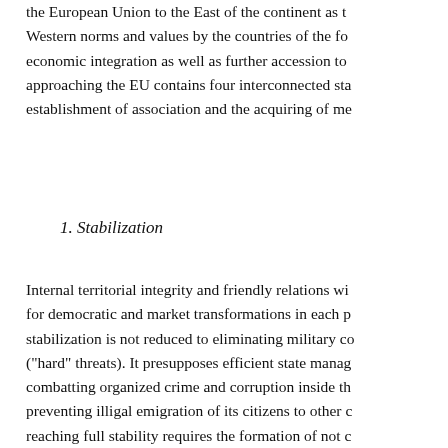the European Union to the East of the continent as t Western norms and values by the countries of the fo economic integration as well as further accession to approaching the EU contains four interconnected sta establishment of association and the acquiring of me
1. Stabilization
Internal territorial integrity and friendly relations wi for democratic and market transformations in each p stabilization is not reduced to eliminating military co ("hard" threats). It presupposes efficient state manag combatting organized crime and corruption inside th preventing illigal emigration of its citizens to other c reaching full stability requires the formation of not c state with transparent governing, respecting fundam namely, the rights of national minorities, overcomin poverty of the population. The upsurge of national c considerable number of national minorities in Centr "weak" risks assigned the stabilization with the pro the EU initiated concluding the Stability Pact for Ce Europe (1999). Nowadays basic stabilization tasks a states (undetermined status for Abkhazia, Nagorny